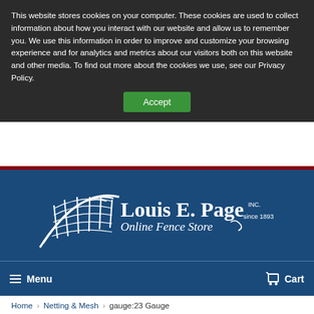This website stores cookies on your computer. These cookies are used to collect information about how you interact with our website and allow us to remember you. We use this information in order to improve and customize your browsing experience and for analytics and metrics about our visitors both on this website and other media. To find out more about the cookies we use, see our Privacy Policy.
[Figure (logo): Louis E. Page Inc. Online Fence Store logo - white logo with fence graphic on dark blue background]
Menu
Cart
Home › Netting & Mesh › gauge:23 Gauge